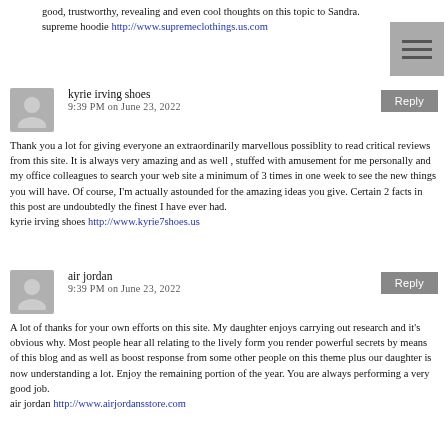good, trustworthy, revealing and even cool thoughts on this topic to Sandra.
supreme hoodie http://www.supremeclothings.us.com
kyrie irving shoes
9:39 PM on June 23, 2022
Thank you a lot for giving everyone an extraordinarily marvellous possiblity to read critical reviews from this site. It is always very amazing and as well , stuffed with amusement for me personally and my office colleagues to search your web site a minimum of 3 times in one week to see the new things you will have. Of course, I'm actually astounded for the amazing ideas you give. Certain 2 facts in this post are undoubtedly the finest I have ever had.
kyrie irving shoes http://www.kyrie7shoes.us
air jordan
9:39 PM on June 23, 2022
A lot of thanks for your own efforts on this site. My daughter enjoys carrying out research and it's obvious why. Most people hear all relating to the lively form you render powerful secrets by means of this blog and as well as boost response from some other people on this theme plus our daughter is now understanding a lot. Enjoy the remaining portion of the year. You are always performing a very good job.
air jordan http://www.airjordansstore.com